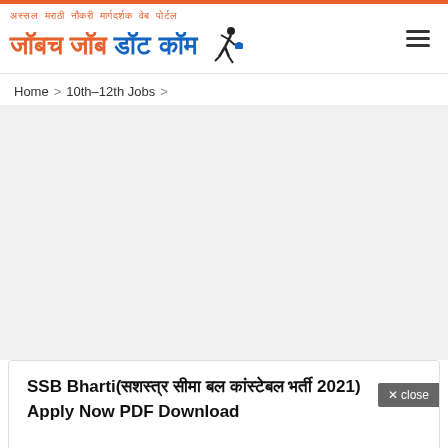अस्सल मराठी नौकरी मार्गदर्शक वेब पोर्टल | जॉबच जॉब डॉट कॉम
Home > 10th-12th Jobs >
SSB Bharti(सशस्त्र सीमा बल कांस्टेबल भर्ती 2021) Apply Now PDF Download
Advertisements